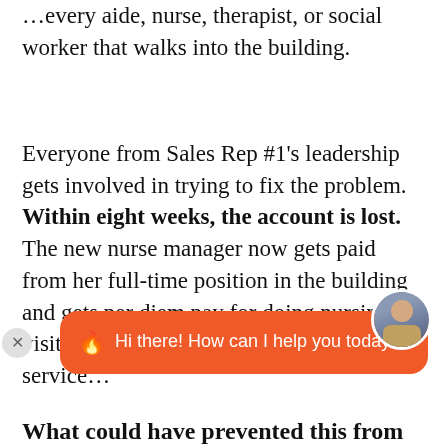…positively about Sales Rep #1 and every aide, nurse, therapist, or social worker that walks into the building.
Everyone from Sales Rep #1's leadership gets involved in trying to fix the problem. Within eight weeks, the account is lost. The new nurse manager now gets paid from her full-time position in the building and gets per diem pay for doing nursing visits from patients on home health service…
[Figure (other): Chat widget overlay with orange background showing a woman avatar and text: 'Hi there! How can I help you today?']
What could have prevented this from…